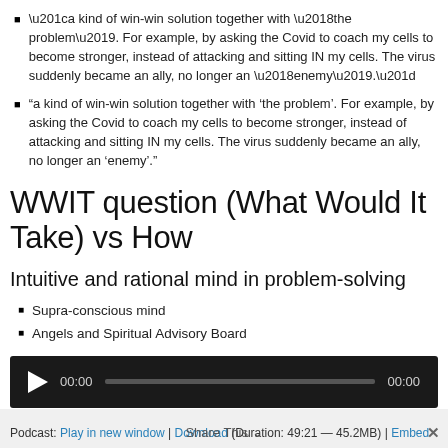“a kind of win-win solution together with ‘the problem’. For example, by asking the Covid to coach my cells to become stronger, instead of attacking and sitting IN my cells. The virus suddenly became an ally, no longer an ‘enemy’.”
WWIT question (What Would It Take) vs How
Intuitive and rational mind in problem-solving
Supra-conscious mind
Angels and Spiritual Advisory Board
[Figure (other): Audio player with play button, 00:00 time stamps, and progress bar on dark background]
Podcast: Play in new window | Download (Duration: 49:21 — 45.2MB) | Embed